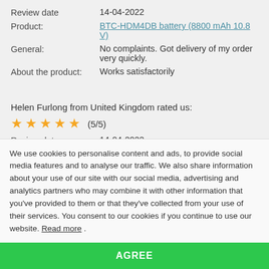| Review date | 14-04-2022 |
| Product: | BTC-HDM4DB battery (8800 mAh 10.8 V) |
| General: | No complaints. Got delivery of my order very quickly. |
| About the product: | Works satisfactorily |
Helen Furlong from United Kingdom rated us:
[Figure (other): 5 gold stars rating (5/5)]
| Review date | 14-04-2022 |
| Product: | 680 mAh 3.7 V battery |
We use cookies to personalise content and ads, to provide social media features and to analyse our traffic. We also share information about your use of our site with our social media, advertising and analytics partners who may combine it with other information that you've provided to them or that they've collected from your use of their services. You consent to our cookies if you continue to use our website. Read more .
AGREE